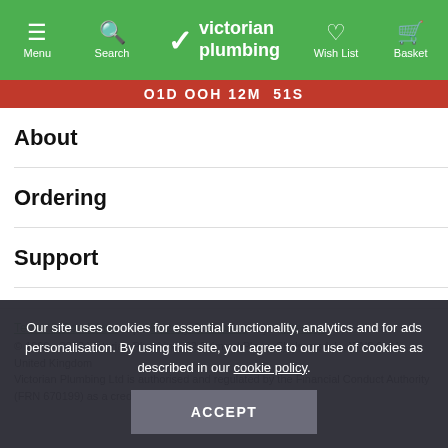Menu | Search | Victorian Plumbing | Wish List | Basket
01D 00H 12M 51S
About
Ordering
Support
Terms & Conditions  |  Privacy & Cookies  |  Sitemap
© 1999 - 2022 Victorian Plumbing, 22 Grimrod Place, Skelmersdale, WN8 9UU, United Kingdom
Victorian Plumbing Ltd is authorised and regulated by the Financial Conduct Authority (FRN 670199) as a credit broker not a lender.
Our site uses cookies for essential functionality, analytics and for ads personalisation. By using this site, you agree to our use of cookies as described in our cookie policy.